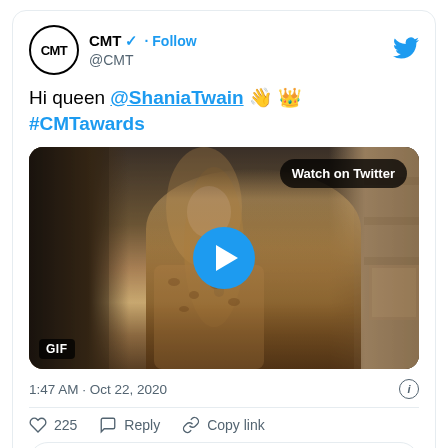CMT @CMT · Follow
Hi queen @ShaniaTwain 👋 👑 #CMTawards
[Figure (photo): Video thumbnail of a woman singing with a microphone in a room, with a play button overlay and 'Watch on Twitter' button. GIF label in bottom left.]
1:47 AM · Oct 22, 2020
225  Reply  Copy link
Read 6 replies